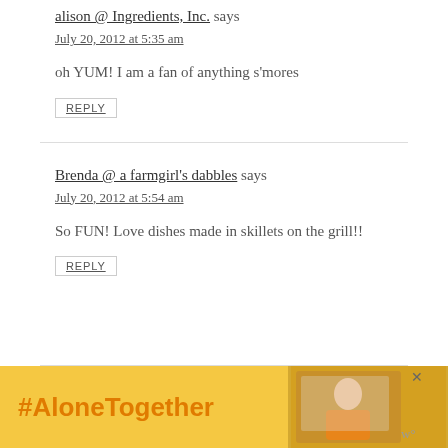alison @ Ingredients, Inc. says
July 20, 2012 at 5:35 am
oh YUM! I am a fan of anything s'mores
REPLY
Brenda @ a farmgirl's dabbles says
July 20, 2012 at 5:54 am
So FUN! Love dishes made in skillets on the grill!!
REPLY
[Figure (infographic): #AloneTogether advertisement banner with orange text and person image]